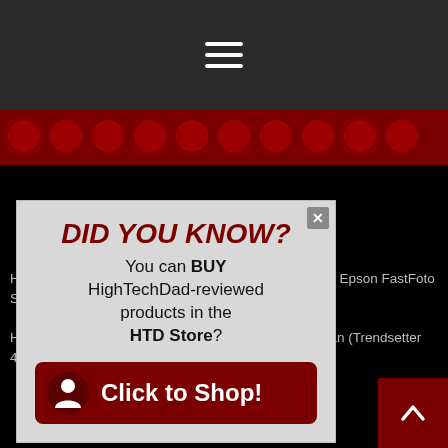[Figure (screenshot): Website screenshot showing a dark navigation bar at top with hamburger menu icon, a dark red banner below it, and a popup modal overlay with 'DID YOU KNOW?' heading and shop button. Background is black with partially visible article links.]
DID YOU KNOW?
You can BUY HighTechDad-reviewed products in the HTD Store?
Click to Shop!
How to Scan, Optimize & Archive Photos in Seconds – Epson FastFoto Scanner (Review & Video)
How To Easily Install and Set Up the Smafan Smart Fan (Trendsetter 48") – Review & Video